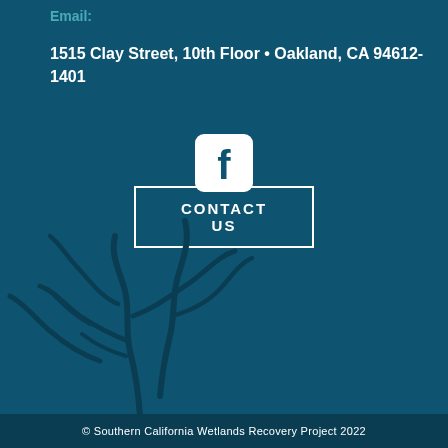Email:
1515 Clay Street, 10th Floor • Oakland, CA 94612-1401
[Figure (illustration): Facebook social media icon — white rounded square with white 'f' letter]
CONTACT US
[Figure (illustration): Decorative seaweed/kelp silhouette illustration in dark teal at bottom left of page]
© Southern California Wetlands Recovery Project 2022